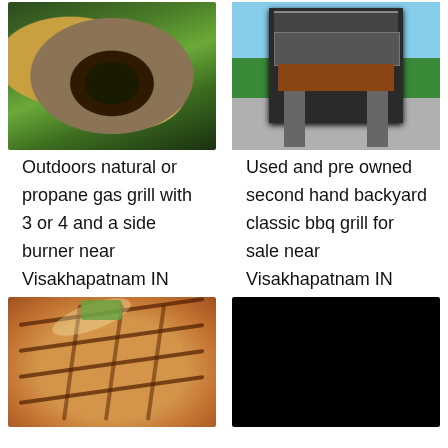[Figure (photo): Grilled avocado halves with char marks on a white plate]
[Figure (photo): Outdoor backyard classic BBQ grill, black metal, on grass with blue sky]
Outdoors natural or propane gas grill with 3 or 4 and a side burner near Visakhapatnam IN
Used and pre owned second hand backyard classic bbq grill for sale near Visakhapatnam IN
[Figure (photo): Grilled flatbread or naan with char grill marks and herbs on orange background]
[Figure (photo): Solid black image, likely a missing or unavailable photo]